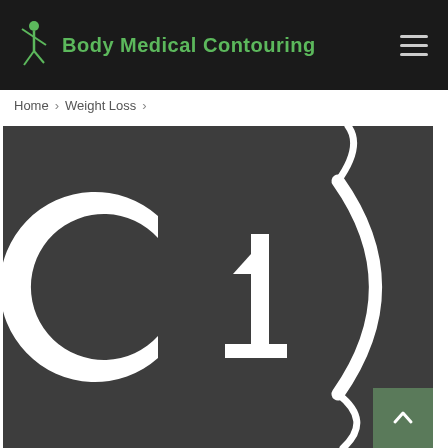Body Medical Contouring
Home > Weight Loss >
[Figure (logo): C1 logo — white stylized letter C and number 1 with a curved chevron arrow on dark gray background]